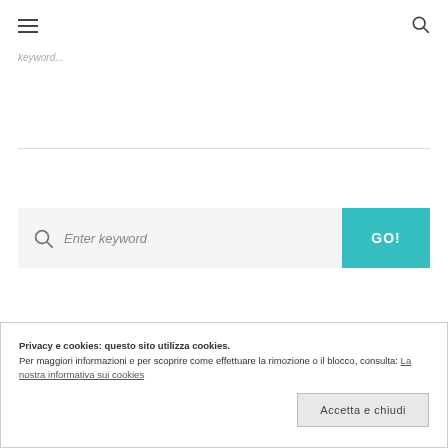keyword
Enter keyword  GO!
Privacy e cookies: questo sito utilizza cookies.
Per maggiori informazioni e per scoprire come effettuare la rimozione o il blocco, consulta: La nostra informativa sui cookies
Accetta e chiudi